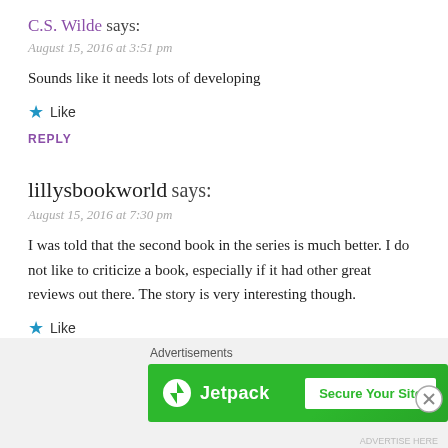C.S. Wilde says:
August 15, 2016 at 3:51 pm
Sounds like it needs lots of developing
★ Like
REPLY
lillysbookworld says:
August 15, 2016 at 7:30 pm
I was told that the second book in the series is much better. I do not like to criticize a book, especially if it had other great reviews out there. The story is very interesting though.
★ Like
REPLY
[Figure (infographic): Jetpack advertisement banner with green background, Jetpack logo and text on left, 'Secure Your Site' button on right. Close button (X in circle) in upper right. 'Advertisements' label above banner.]